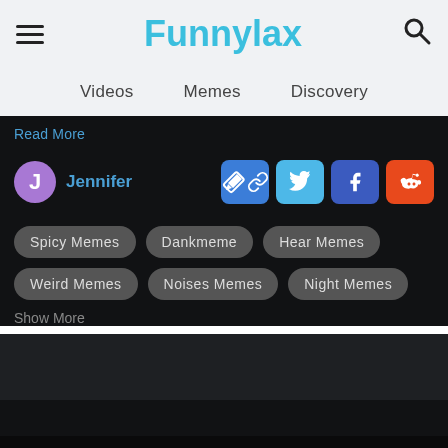Funnylax
Videos   Memes   Discovery
Read More
Jennifer
Spicy Memes   Dankmeme   Hear Memes   Weird Memes   Noises Memes   Night Memes
Show More